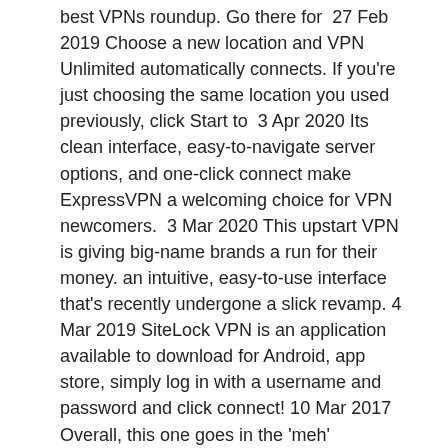best VPNs roundup. Go there for  27 Feb 2019 Choose a new location and VPN Unlimited automatically connects. If you're just choosing the same location you used previously, click Start to  3 Apr 2020 Its clean interface, easy-to-navigate server options, and one-click connect make ExpressVPN a welcoming choice for VPN newcomers.  3 Mar 2020 This upstart VPN is giving big-name brands a run for their money. an intuitive, easy-to-use interface that's recently undergone a slick revamp.  4 Mar 2019 SiteLock VPN is an application available to download for Android, app store, simply log in with a username and password and click connect! 10 Mar 2017 Overall, this one goes in the 'meh' category. FROM THE VPN COMPARISON CHART. CATEGORY, VPN SERVICE, SlickVPN.
mac os x vpn server
fast downloading torrents
désolé, la vidéo que vous avez sélectionnée ne peut pas être visionnée dans cette région.